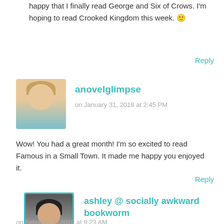happy that I finally read George and Six of Crows. I'm hoping to read Crooked Kingdom this week. 🙂
Reply
[Figure (photo): Profile photo of anovelglimpse: woman with blonde hair wearing teal top]
anovelglimpse
on January 31, 2019 at 2:45 PM
Wow! You had a great month! I'm so excited to read Famous in a Small Town. It made me happy you enjoyed it.
Reply
[Figure (photo): Profile photo of ashley @ socially awkward bookworm: young woman with dark hair]
ashley @ socially awkward bookworm
on February 4, 2019 at 9:23 AM